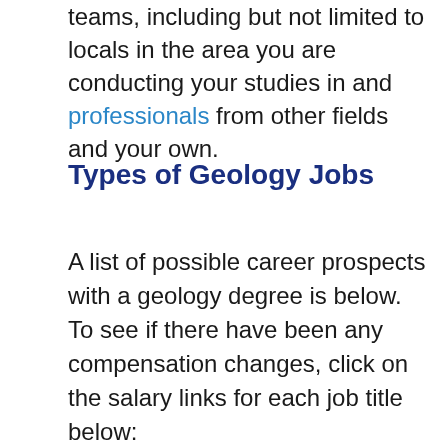interact with people outside of your teams, including but not limited to locals in the area you are conducting your studies in and professionals from other fields and your own.
Types of Geology Jobs
A list of possible career prospects with a geology degree is below. To see if there have been any compensation changes, click on the salary links for each job title below: